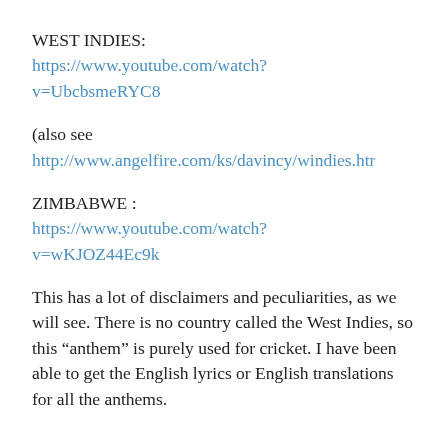WEST INDIES:
https://www.youtube.com/watch?v=UbcbsmeRYC8
(also see
http://www.angelfire.com/ks/davincy/windies.htm
ZIMBABWE :
https://www.youtube.com/watch?v=wKJOZ44Ec9k
This has a lot of disclaimers and peculiarities, as we will see. There is no country called the West Indies, so this “anthem” is purely used for cricket. I have been able to get the English lyrics or English translations for all the anthems.